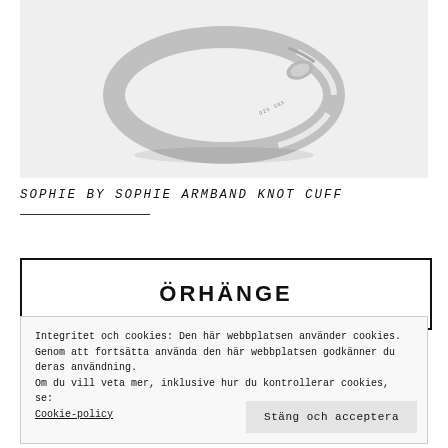[Figure (photo): Close-up photo of a silver bangle/cuff bracelet (Knot Cuff) on a light grey background, showing the knotted detail and hallmark stamp.]
SOPHIE BY SOPHIE ARMBAND KNOT CUFF
ÖRHÄNGE
Integritet och cookies: Den här webbplatsen använder cookies. Genom att fortsätta använda den här webbplatsen godkänner du deras användning.
Om du vill veta mer, inklusive hur du kontrollerar cookies, se: Cookie-policy
Stäng och acceptera